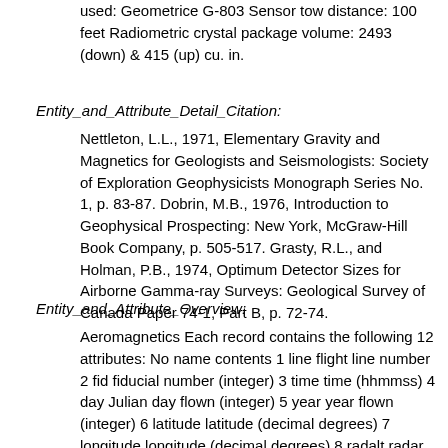used: Geometrice G-803 Sensor tow distance: 100 feet Radiometric crystal package volume: 2493 (down) & 415 (up) cu. in.
Entity_and_Attribute_Detail_Citation:
Nettleton, L.L., 1971, Elementary Gravity and Magnetics for Geologists and Seismologists: Society of Exploration Geophysicists Monograph Series No. 1, p. 83-87. Dobrin, M.B., 1976, Introduction to Geophysical Prospecting: New York, McGraw-Hill Book Company, p. 505-517. Grasty, R.L., and Holman, P.B., 1974, Optimum Detector Sizes for Airborne Gamma-ray Surveys: Geological Survey of Canada Paper 74-1, Part B, p. 72-74.
Entity_and_Attribute_Overview:
Aeromagnetics Each record contains the following 12 attributes: No name contents 1 line flight line number 2 fid fiducial number (integer) 3 time time (hhmmss) 4 day Julian day flown (integer) 5 year year flown (integer) 6 latitude latitude (decimal degrees) 7 longitude longitude (decimal degrees) 8 radalt radar altimeter reading above ground (meters) 9 totmag corrected magnetic value (nT) 10 resmag residual magnetic value (nT) 11 diurnal